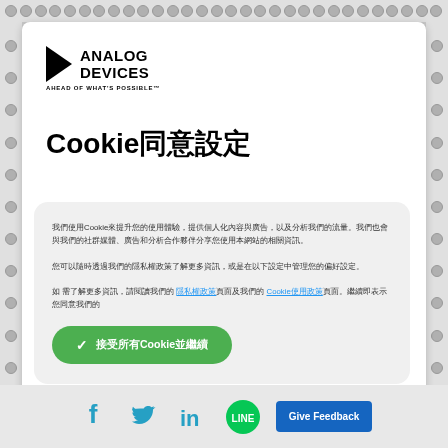[Figure (logo): Analog Devices logo with triangle arrow and text ANALOG DEVICES, AHEAD OF WHAT'S POSSIBLE tagline]
Cookie同意設定
我們使用Cookie來提升您的使用體驗，提供個人化內容與廣告，以及分析我們的流量。我們也會與我們的社群媒體、廣告和分析合作夥伴分享您使用本網站的相關資訊。您可以隨時透過 隱私權偏好設定 了解更多或 更改您的設定 。繼續即表示您同意我們的
[Figure (other): Green accept/consent button with checkmark and text 接受所有Cookie並繼續]
[Figure (continuous-plot): Filter comparison chart showing Bessel, Butterworth, Chebyshev, Elliptic frequency responses, partially visible at bottom of page]
[Figure (infographic): Social media icons: Facebook, Twitter, LinkedIn, LINE, and Give Feedback button]